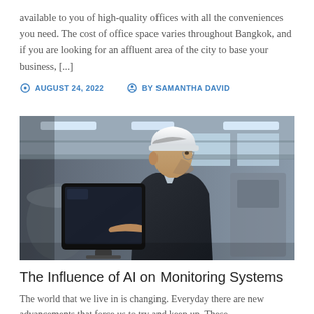available to you of high-quality offices with all the conveniences you need. The cost of office space varies throughout Bangkok, and if you are looking for an affluent area of the city to base your business, [...]
⊙ AUGUST 24, 2022   ⊕ BY SAMANTHA DAVID
[Figure (photo): A middle-aged man wearing a white hard hat and dark jacket, looking at a computer monitor in an industrial facility. The background shows industrial equipment and ceiling lights.]
The Influence of AI on Monitoring Systems
The world that we live in is changing. Everyday there are new advancements that force us to try and keep up. These